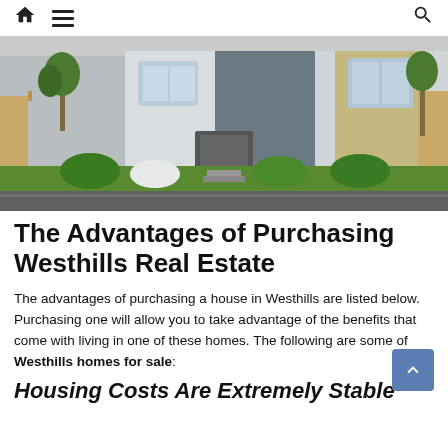Home | Menu | Search
[Figure (photo): Exterior photo of a modern suburban house with a landscaped front garden, green lawn, trees, pathway, and a road in front.]
The Advantages of Purchasing Westhills Real Estate
The advantages of purchasing a house in Westhills are listed below. Purchasing one will allow you to take advantage of the benefits that come with living in one of these homes. The following are some of Westhills homes for sale:
Housing Costs Are Extremely Stable